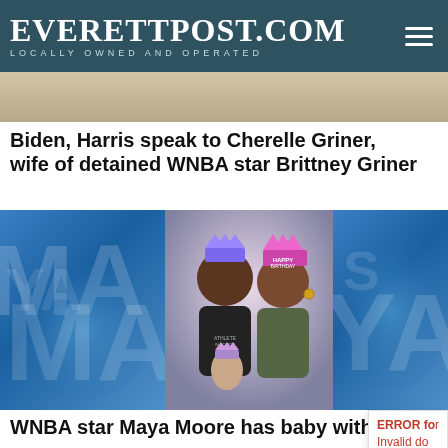EverettPost.com — Locally Owned and Operated
[Figure (photo): Partial photo strip at top of page, showing a person lying down with a small table nearby]
Biden, Harris speak to Cherelle Griner, wife of detained WNBA star Brittney Griner
[Figure (photo): TV screenshot showing a family of three wearing birthday crowns/hats — a man, a woman, and their baby — on what appears to be a morning show set with a blue MAYA watermark background]
WNBA star Maya Moore has baby with new husband she helped free from prison
ERROR for site owner: Invalid do
[Figure (photo): Bottom partial photo showing a person in a dark setting, with an X close button in the bottom right corner]